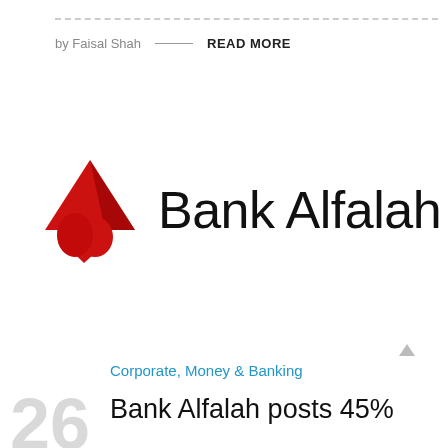by Faisal Shah — READ MORE
[Figure (logo): Bank Alfalah logo: red arrow/heart mark on left, 'Bank Alfalah' text on right in dark sans-serif font]
Corporate, Money & Banking
Bank Alfalah posts 45%